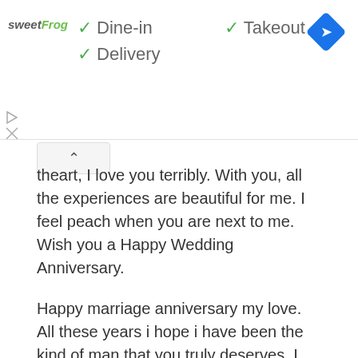[Figure (screenshot): Advertisement banner for sweetFrog with check marks indicating Dine-in, Takeout, and Delivery options, and a Google Maps navigation icon in the top right corner.]
theart, I love you terribly. With you, all the experiences are beautiful for me. I feel peach when you are next to me. Wish you a Happy Wedding Anniversary.
Happy marriage anniversary my love. All these years i hope i have been the kind of man that you truly deserves. I love you so much. May we live a long happy life together.
Today is a day to celebrate the love I have in my heart for you. I love you always honey, and can't wait to see what the next year brings.
Every time I see your beautiful face I am reminded of how